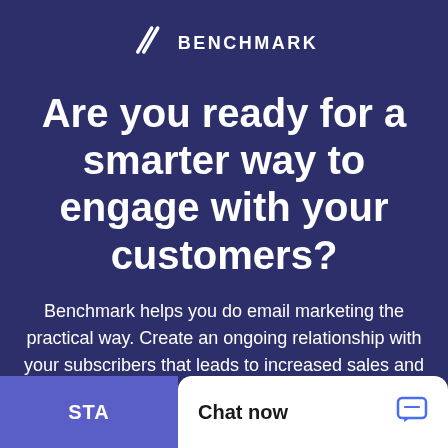[Figure (logo): Benchmark logo with stylized double-line icon and text BENCHMARK in white on dark blue background]
Are you ready for a smarter way to engage with your customers?
Benchmark helps you do email marketing the practical way. Create an ongoing relationship with your subscribers that leads to increased sales and happier customers.
[Figure (screenshot): Partial chat widget popup showing 'Chat now' label with chat icon in blue, and a partially visible 'START' button in purple]